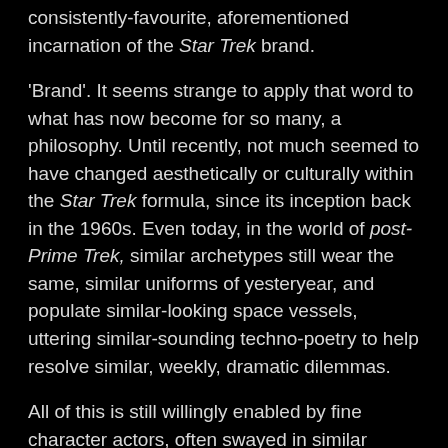consistently-favourite, aforementioned incarnation of the Star Trek brand.
'Brand'. It seems strange to apply that word to what has now become for so many, a philosophy. Until recently, not much seemed to have changed aesthetically or culturally within the Star Trek formula, since its inception back in the 1960s. Even today, in the world of post-Prime Trek, similar archetypes still wear the same, similar uniforms of yesteryear, and populate similar-looking space vessels, uttering similar-sounding techno-poetry to help resolve similar, weekly, dramatic dilemmas.
All of this is still willingly enabled by fine character actors, often swayed in similar creative splodges of ear, nose or forehead-based, moulded latex. As a fan, I find it difficult to critique these similarities, as I find they work so well! And perhaps never more so, than in this particular spinoff, often